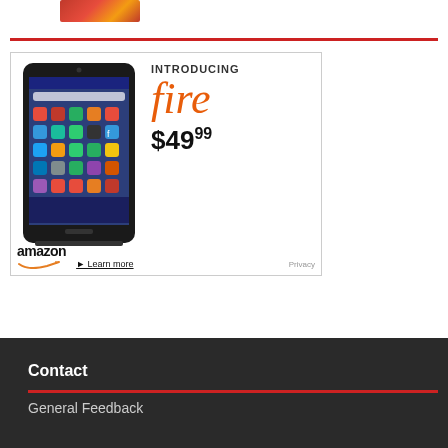[Figure (photo): Partial image visible at top of page, appears to be a book cover or article image with red/orange colors]
[Figure (infographic): Amazon Fire tablet advertisement. Shows a tablet device on the left with app icons on screen. Text on right reads 'INTRODUCING fire $49.99'. Bottom shows Amazon logo with smile, 'Learn more' link, and 'Privacy' text.]
Contact
General Feedback